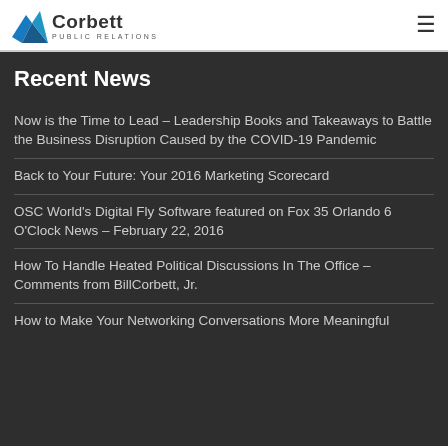Corbett Public Relations
Recent News
Now is the Time to Lead – Leadership Books and Takeaways to Battle the Business Disruption Caused by the COVID-19 Pandemic
Back to Your Future: Your 2016 Marketing Scorecard
OSC World's Digital Fly Software featured on Fox 35 Orlando 6 O'Clock News – February 22, 2016
How To Handle Heated Political Discussions In The Office – Comments from BillCorbett, Jr.
How to Make Your Networking Conversations More Meaningful